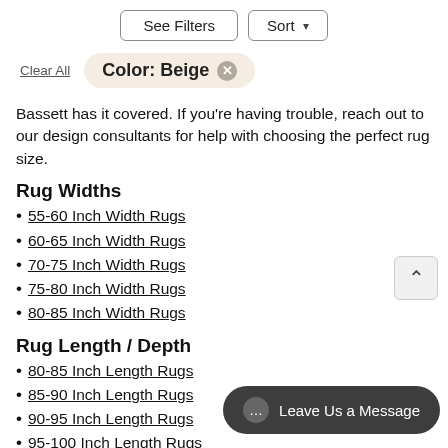See Filters | Sort
Clear All  Color: Beige ×
Bassett has it covered. If you're having trouble, reach out to our design consultants for help with choosing the perfect rug size.
Rug Widths
55-60 Inch Width Rugs
60-65 Inch Width Rugs
70-75 Inch Width Rugs
75-80 Inch Width Rugs
80-85 Inch Width Rugs
Rug Length / Depth
80-85 Inch Length Rugs
85-90 Inch Length Rugs
90-95 Inch Length Rugs
95-100 Inch Length Rugs
105-110 Inch Length Rugs